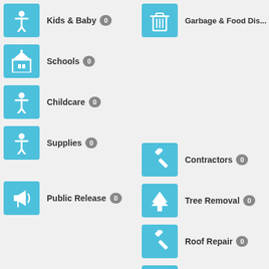[Figure (infographic): App category menu screenshot showing two columns of service categories. Left column: Kids & Baby (0), Schools (0), Childcare (0), Supplies (0), Public Release (0). Right column: Garbage & Food Dis... (0), Contractors (0), Tree Removal (0), Roof Repair (0), Electricians (0), Plumbers (0). Each item has a teal icon box on the left and a badge showing 0 count.]